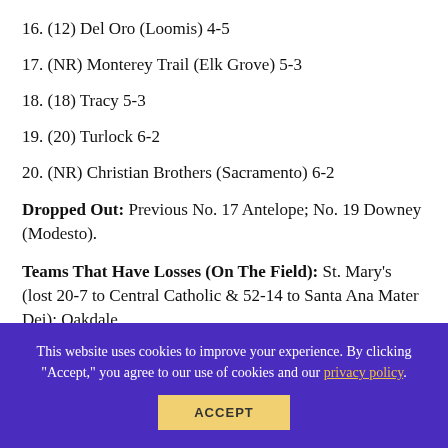16. (12) Del Oro (Loomis) 4-5
17. (NR) Monterey Trail (Elk Grove) 5-3
18. (18) Tracy 5-3
19. (20) Turlock 6-2
20. (NR) Christian Brothers (Sacramento) 6-2
Dropped Out: Previous No. 17 Antelope; No. 19 Downey (Modesto).
Teams That Have Losses (On The Field): St. Mary's (lost 20-7 to Central Catholic & 52-14 to Santa Ana Mater Dei); Oakdale
This website uses cookies to improve your experience. By clicking "Accept," you agree to our use of cookies and our privacy policy.